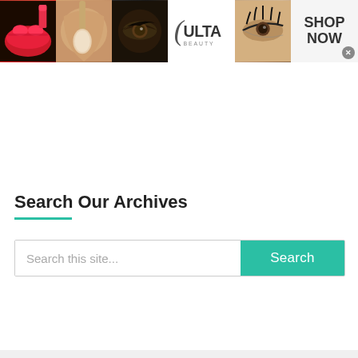[Figure (photo): Ulta Beauty advertisement banner showing beauty/makeup images (lips, brush, eyes) alongside the Ulta logo and 'SHOP NOW' text]
Search Our Archives
Search this site...
[Figure (photo): Victoria's Secret advertisement banner with model, VS logo, 'SHOP THE COLLECTION' text and 'SHOP NOW' button]